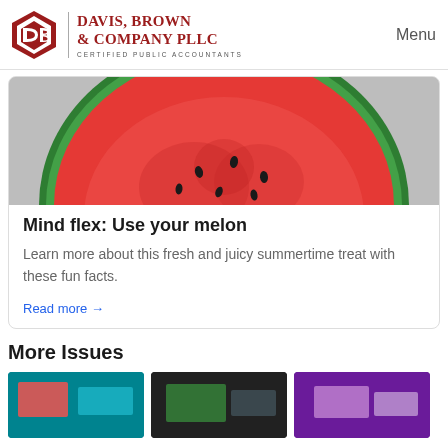Davis, Brown & Company PLLC — Certified Public Accountants | Menu
[Figure (photo): Close-up photo of a watermelon slice cross-section showing red flesh and green rind on a grey background]
Mind flex: Use your melon
Learn more about this fresh and juicy summertime treat with these fun facts.
Read more →
More Issues
[Figure (photo): Thumbnail image with teal/blue background and red element — newsletter issue thumbnail]
[Figure (photo): Thumbnail image with dark background and green element — newsletter issue thumbnail]
[Figure (photo): Thumbnail image with purple background and light element — newsletter issue thumbnail]